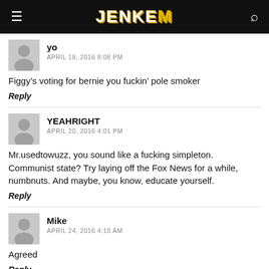JENKEM
yo
APRIL 18, 2016 8:08 PM
Figgy’s voting for bernie you fuckin’ pole smoker
Reply
YEAHRIGHT
APRIL 20, 2016 4:01 PM
Mr.usedtowuzz, you sound like a fucking simpleton. Communist state? Try laying off the Fox News for a while, numbnuts. And maybe, you know, educate yourself.
Reply
Mike
APRIL 24, 2016 4:10 AM
Agreed
Reply
Jason Howic